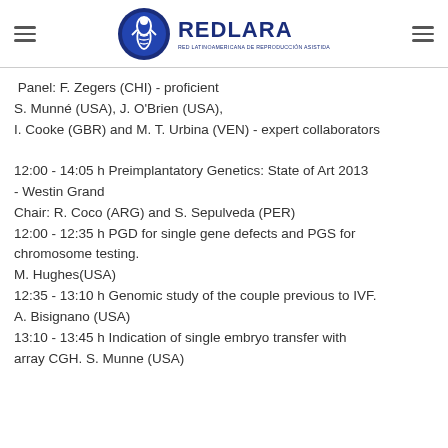REDLARA - Red Latinoamericana de Reproducción Asistida
Panel: F. Zegers (CHI) - proficient
S. Munné (USA), J. O'Brien (USA),
I. Cooke (GBR) and M. T. Urbina (VEN) - expert collaborators
12:00 - 14:05 h Preimplantatory Genetics: State of Art 2013 - Westin Grand
Chair: R. Coco (ARG) and S. Sepulveda (PER)
12:00 - 12:35 h PGD for single gene defects and PGS for chromosome testing.
M. Hughes(USA)
12:35 - 13:10 h Genomic study of the couple previous to IVF. A. Bisignano (USA)
13:10 - 13:45 h Indication of single embryo transfer with array CGH. S. Munne (USA)